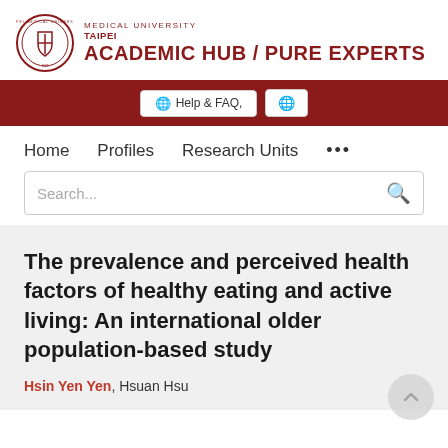[Figure (logo): Taipei Medical University circular seal logo in dark red]
TAIPEI MEDICAL UNIVERSITY ACADEMIC HUB / PURE EXPERTS
Help & FAQ,
Home   Profiles   Research Units   ...
Search...
The prevalence and perceived health factors of healthy eating and active living: An international older population-based study
Hsin Yen Yen, Hsuan Hsu